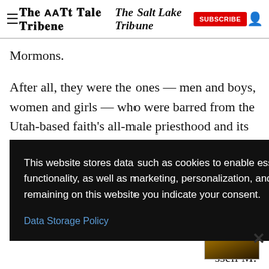The Salt Lake Tribune
Mormons.
After all, they were the ones — men and boys, women and girls — who were barred from the Utah-based faith's all-male priesthood and its temples from the mid-1800s until 1978, when those prohibitions ended.
This website stores data such as cookies to enable essential site functionality, as well as marketing, personalization, and analytics. By remaining on this website you indicate your consent.
Data Storage Policy